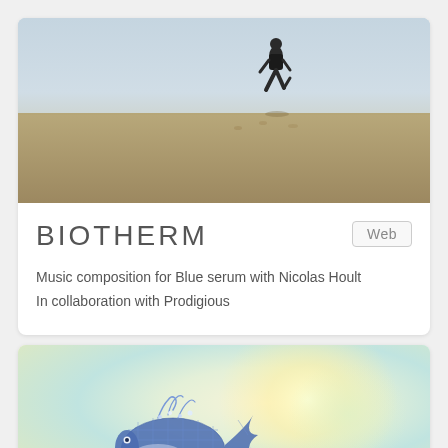[Figure (photo): Person running on a beach with sky and sand, viewed from behind at a distance]
BIOTHERM
Web
Music composition for Blue serum with Nicolas Hoult
In collaboration with Prodigious
[Figure (illustration): A decorative jeweled whale illustration on a soft pastel gradient background with light burst effects]